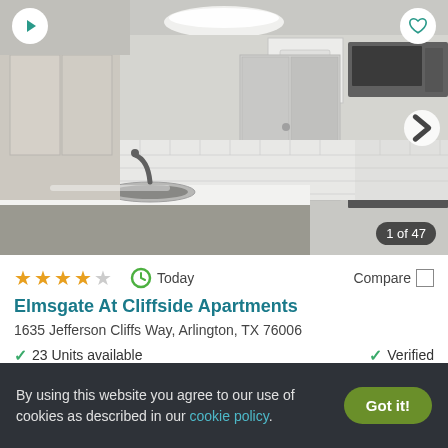[Figure (photo): Interior photo of apartment kitchen with white cabinets, subway tile backsplash, stainless steel appliances, and white quartz countertop island with sink. Photo counter shows '1 of 47'.]
★★★★☆   Today   Compare
Elmsgate At Cliffside Apartments
1635 Jefferson Cliffs Way, Arlington, TX 76006
✓ 23 Units available   ✓ Verified
1 BED   2 BEDS
By using this website you agree to our use of cookies as described in our cookie policy.